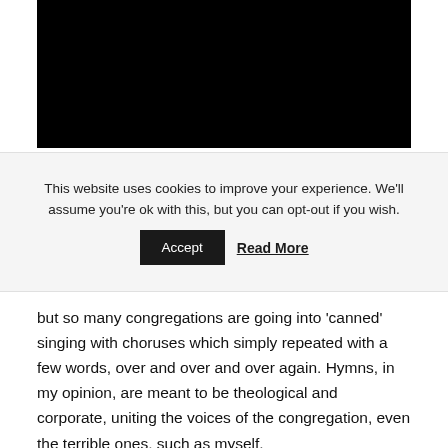[Figure (photo): Black rectangle image placeholder at top of page]
This website uses cookies to improve your experience. We'll assume you're ok with this, but you can opt-out if you wish. Accept Read More
but so many congregations are going into 'canned' singing with choruses which simply repeated with a few words, over and over and over again. Hymns, in my opinion, are meant to be theological and corporate, uniting the voices of the congregation, even the terrible ones, such as myself.